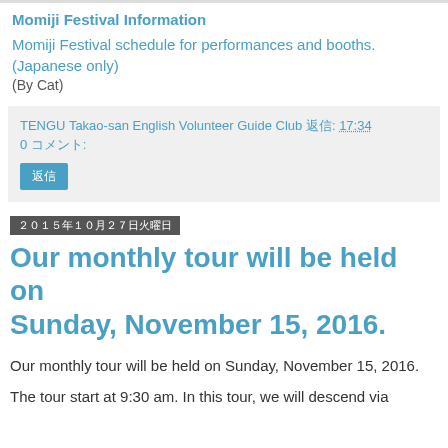Momiji Festival Information
Momiji Festival schedule for performances and booths.
(Japanese only)
(By Cat)
TENGU Takao-san English Volunteer Guide Club 返信: 17:34
0 コメント:
返信
2015年10月27日火曜日
Our monthly tour will be held on Sunday, November 15, 2016.
Our monthly tour will be held on Sunday, November 15, 2016.
The tour start at 9:30 am. In this tour, we will descend via